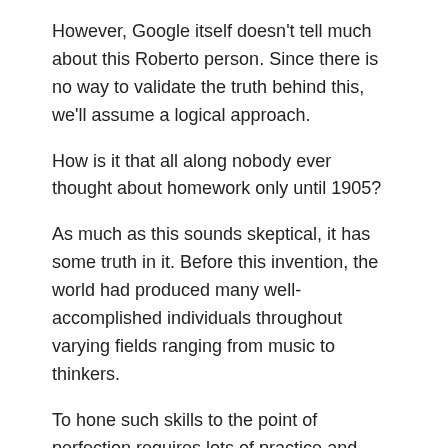However, Google itself doesn't tell much about this Roberto person. Since there is no way to validate the truth behind this, we'll assume a logical approach.
How is it that all along nobody ever thought about homework only until 1905?
As much as this sounds skeptical, it has some truth in it. Before this invention, the world had produced many well-accomplished individuals throughout varying fields ranging from music to thinkers.
To hone such skills to the point of perfection requires lots of practice and memorization and the popular method to do this is through the culture of doing homework. Doubt this if you want but the truth is that homework is as old as education itself.
Even medieval students had their fair share of homework.